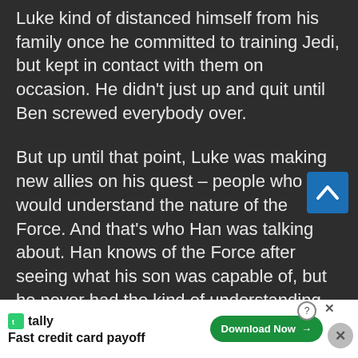Luke kind of distanced himself from his family once he committed to training Jedi, but kept in contact with them on occasion. He didn't just up and quit until Ben screwed everybody over.
But up until that point, Luke was making new allies on his quest – people who would understand the nature of the Force. And that's who Han was talking about. Han knows of the Force after seeing what his son was capable of, but he never had the kind of understanding that Luke or Leia did – which makes sense.
Помојма
[Figure (other): Tally advertisement banner: 'Fast credit card payoff' with Download Now button, help icon, and close button]